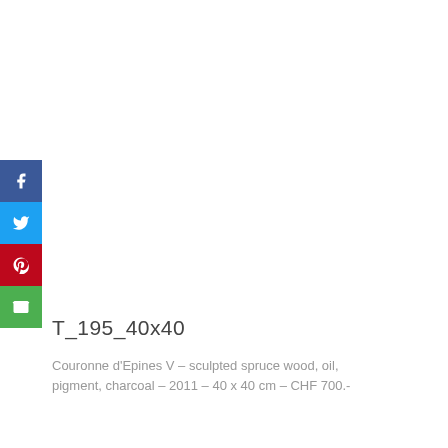[Figure (infographic): Social media share buttons sidebar: Facebook (dark blue), Twitter (light blue), Pinterest (red), Email (green), each with white icon]
T_195_40x40
Couronne d'Epines V – sculpted spruce wood, oil, pigment, charcoal – 2011 – 40 x 40 cm – CHF 700.-